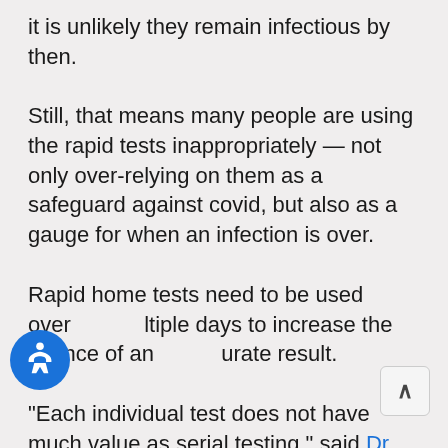it is unlikely they remain infectious by then.
Still, that means many people are using the rapid tests inappropriately — not only over-relying on them as a safeguard against covid, but also as a gauge for when an infection is over.
Rapid home tests need to be used over multiple days to increase the chance of an accurate result.
“Each individual test does not have much value as serial testing,” said Dr. Zishan Siddiqui, chief medical officer at the Baltimore Convention Center Field Hospital and an assistant professor of medicine at